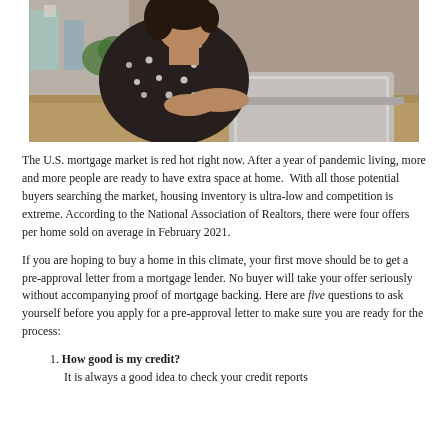[Figure (photo): Person in a dark polka-dot shirt sitting at a desk working on a laptop computer, photographed from the side/above angle in a home or office setting.]
The U.S. mortgage market is red hot right now. After a year of pandemic living, more and more people are ready to have extra space at home.  With all those potential buyers searching the market, housing inventory is ultra-low and competition is extreme. According to the National Association of Realtors, there were four offers per home sold on average in February 2021.
If you are hoping to buy a home in this climate, your first move should be to get a pre-approval letter from a mortgage lender. No buyer will take your offer seriously without accompanying proof of mortgage backing. Here are five questions to ask yourself before you apply for a pre-approval letter to make sure you are ready for the process:
1. How good is my credit? It is always a good idea to check your credit reports before…